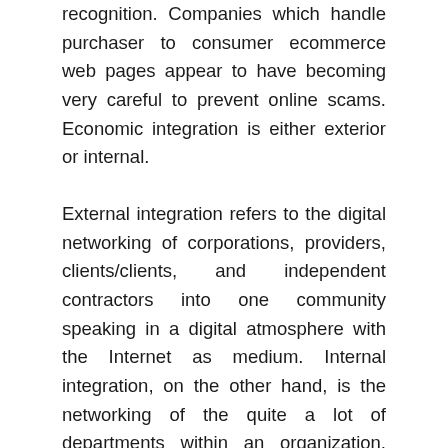recognition. Companies which handle purchaser to consumer ecommerce web pages appear to have becoming very careful to prevent online scams. Economic integration is either exterior or internal.
External integration refers to the digital networking of corporations, providers, clients/clients, and independent contractors into one community speaking in a digital atmosphere with the Internet as medium. Internal integration, on the other hand, is the networking of the quite a lot of departments within an organization, and of business operations and methods. This allows crucial business guidance to be stored in a digital form that may be retrieved automatically and transmitted electronically. Internal integration is better exemplified by